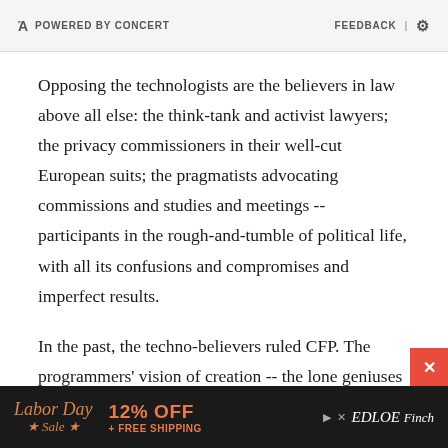POWERED BY CONCERT   FEEDBACK | ⚙
Opposing the technologists are the believers in law above all else: the think-tank and activist lawyers; the privacy commissioners in their well-cut European suits; the pragmatists advocating commissions and studies and meetings -- participants in the rough-and-tumble of political life, with all its confusions and compromises and imperfect results.
In the past, the techno-believers ruled CFP. The programmers' vision of creation -- the lone geniuses -- prevailed over the data-privacy "bureaucrats" -- so
[Figure (other): Advertisement banner: Labor Day Sale - 12% OFF + FREE SHIPPING - EDLOE Finch logo. Dark background with close button.]